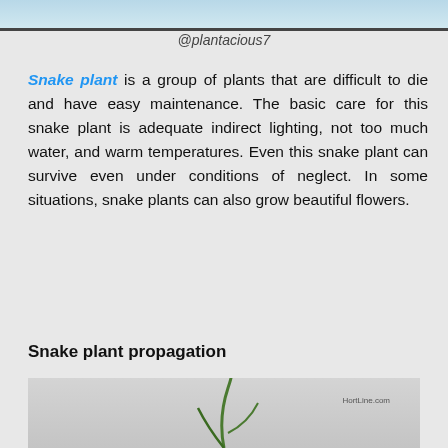[Figure (photo): Top portion of a snake plant photo, cropped at top of page with dark border at bottom]
@plantacious7
Snake plant is a group of plants that are difficult to die and have easy maintenance. The basic care for this snake plant is adequate indirect lighting, not too much water, and warm temperatures. Even this snake plant can survive even under conditions of neglect. In some situations, snake plants can also grow beautiful flowers.
Snake plant propagation
[Figure (photo): Photo of a snake plant showing a thin green leaf/stem against a gray background, with watermark 'HortLine.com']